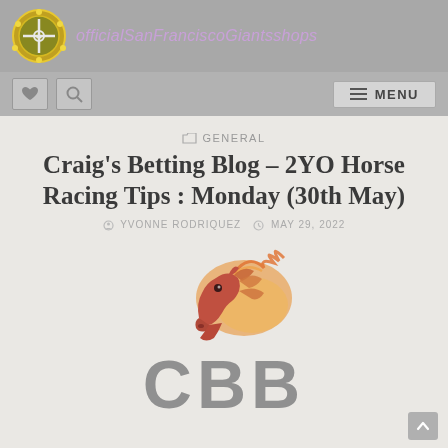officialSanFranciscoGiantsshops
GENERAL
Craig's Betting Blog – 2YO Horse Racing Tips : Monday (30th May)
YVONNE RODRIQUEZ  •  MAY 29, 2022
[Figure (logo): CBB Craig's Betting Blog logo — a horse head illustration above the letters CBB in large grey text]